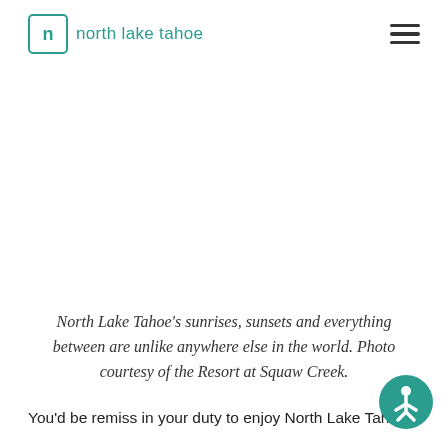north lake tahoe
North Lake Tahoe's sunrises, sunsets and everything between are unlike anywhere else in the world. Photo courtesy of the Resort at Squaw Creek.
You'd be remiss in your duty to enjoy North Lake Tahoe
[Figure (logo): Accessibility icon button (person in circle) in teal color, bottom right corner]